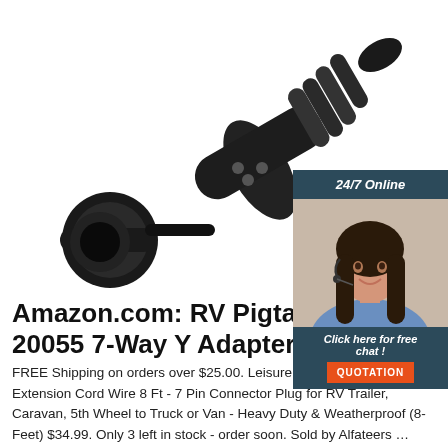[Figure (photo): Black RV trailer electrical connector/adapter pigtail plug, shown against white background. The black cylindrical connector has multiple pins visible.]
[Figure (photo): 24/7 Online chat widget with photo of smiling woman wearing a headset/microphone, dark blue background header reading '24/7 Online', text 'Click here for free chat!' and orange 'QUOTATION' button below.]
Amazon.com: RV Pigtails 20055 7-Way Y Adapter
FREE Shipping on orders over $25.00. Leisure Cords 7-Way Trailer Extension Cord Wire 8 Ft - 7 Pin Connector Plug for RV Trailer, Caravan, 5th Wheel to Truck or Van - Heavy Duty & Weatherproof (8-Feet) $34.99. Only 3 left in stock - order soon. Sold by Alfateers …